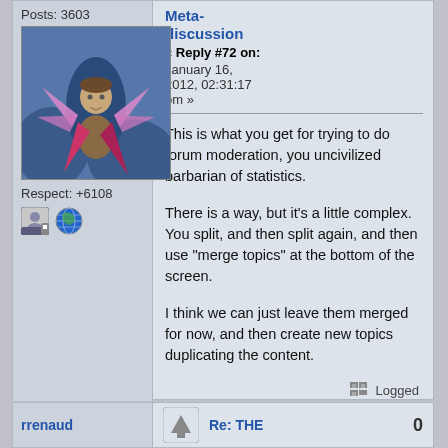Posts: 3603
[Figure (illustration): Forum user avatar image showing a fantasy character with pink/magenta cape against a blue background]
Respect: +6108
[Figure (illustration): Two small forum icons: a user/profile icon and a green globe/world icon]
Meta-discussion
« Reply #72 on: January 16, 2012, 02:31:17 pm »
This is what you get for trying to do forum moderation, you uncivilized barbarian of statistics.
There is a way, but it's a little complex.  You split, and then split again, and then use "merge topics" at the bottom of the screen.
I think we can just leave them merged for now, and then create new topics duplicating the content.
Logged
rrenaud
[Figure (illustration): Small up arrow / vote icon]
Re: THE
0